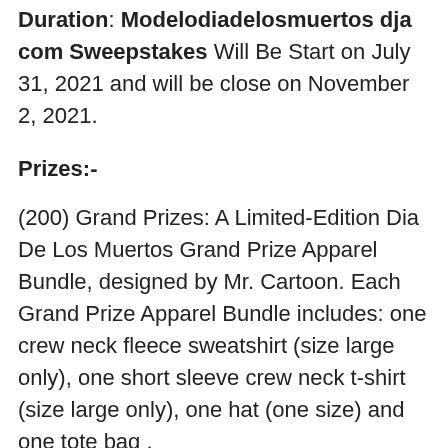Duration: Modelodiadelosmuertos dja com Sweepstakes Will Be Start on July 31, 2021 and will be close on November 2, 2021.
Prizes:-
(200) Grand Prizes: A Limited-Edition Dia De Los Muertos Grand Prize Apparel Bundle, designed by Mr. Cartoon. Each Grand Prize Apparel Bundle includes: one crew neck fleece sweatshirt (size large only), one short sleeve crew neck t-shirt (size large only), one hat (one size) and one tote bag .
Official Details: You can follow the below link, There are www.modelodiadelosmuertos.dja.com terms n conditions given. So you read carefully before